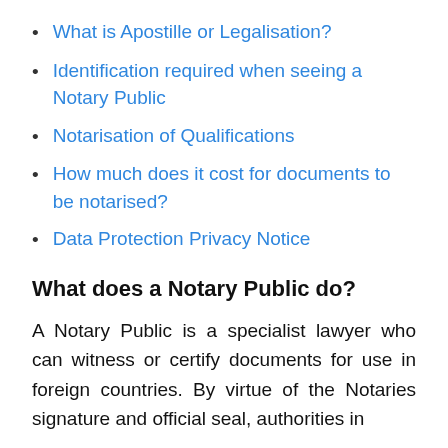What is Apostille or Legalisation?
Identification required when seeing a Notary Public
Notarisation of Qualifications
How much does it cost for documents to be notarised?
Data Protection Privacy Notice
What does a Notary Public do?
A Notary Public is a specialist lawyer who can witness or certify documents for use in foreign countries. By virtue of the Notaries signature and official seal, authorities in